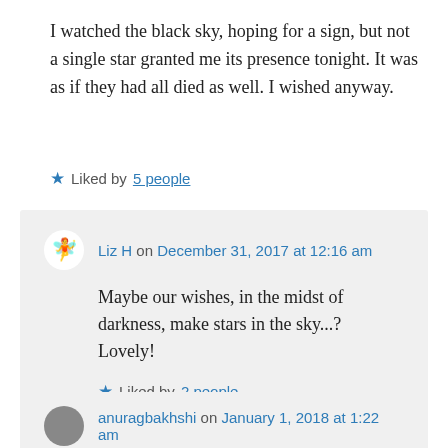I watched the black sky, hoping for a sign, but not a single star granted me its presence tonight. It was as if they had all died as well. I wished anyway.
★ Liked by 5 people
Liz H on December 31, 2017 at 12:16 am
Maybe our wishes, in the midst of darkness, make stars in the sky...?
Lovely!
★ Liked by 2 people
anuragbakhshi on January 1, 2018 at 1:22 am